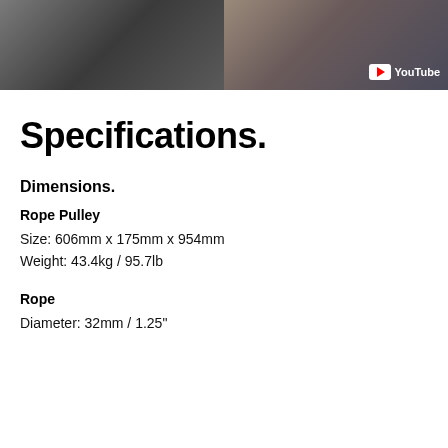[Figure (photo): Two side-by-side photos: left shows a person using gym equipment (rope pulley machine), right shows a close-up of tattooed hands on a rope with a YouTube video badge overlay]
Specifications.
Dimensions.
Rope Pulley
Size: 606mm x 175mm x 954mm
Weight: 43.4kg / 95.7lb
Rope
Diameter: 32mm / 1.25"